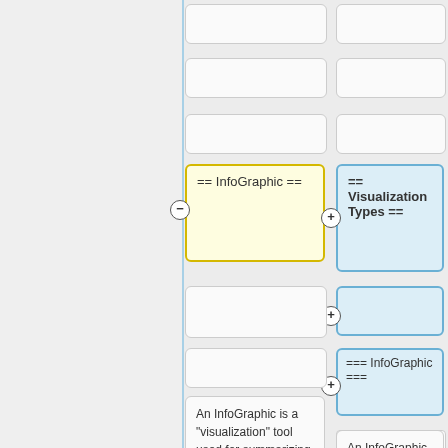[Figure (screenshot): A wiki diff/comparison view showing two columns. Left column has a yellow-highlighted box with '== InfoGraphic ==' and right column has a blue-highlighted box with '== Visualization Types ==', plus additional blue boxes with empty content and '=== InfoGraphic ==='. Both columns show identical text blocks beginning with 'An InfoGraphic is a "visualization" tool used for summarizing large amounts of data and information into a small, concise, yet easily']